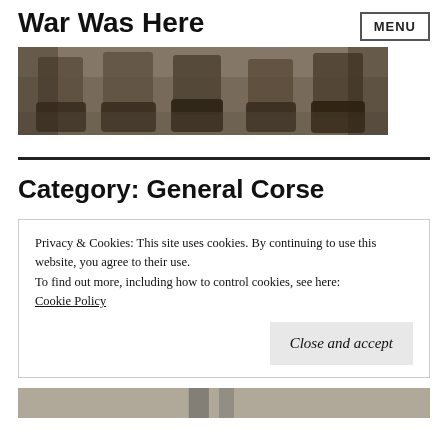War Was Here
[Figure (photo): Sepia-toned photograph showing soldiers' boots and lower legs standing on grass/ground]
Category: General Corse
Privacy & Cookies: This site uses cookies. By continuing to use this website, you agree to their use.
To find out more, including how to control cookies, see here:
Cookie Policy
Close and accept
[Figure (photo): Partial view of a black and white photograph at the bottom of the page]